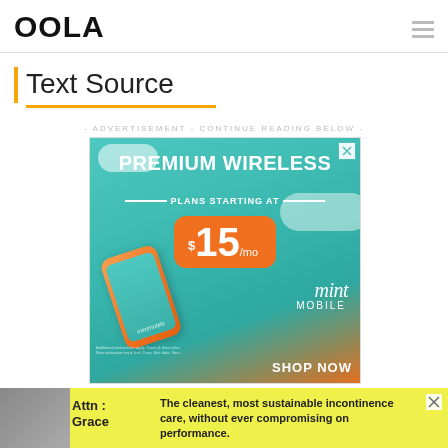OOLA
Text Source
- ADVERTISEMENT - CONTINUE READING BELOW -
[Figure (infographic): Mint Mobile advertisement: PREMIUM WIRELESS PLANS STARTING AT $15/mo with phone image and SHOP NOW text]
[Figure (infographic): Bottom banner ad: Attn: Grace - The cleanest, most sustainable incontinence care, without ever compromising on performance.]